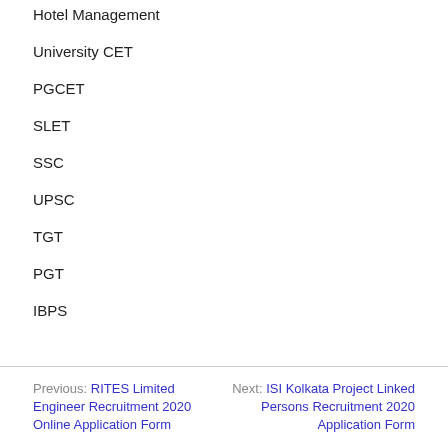Hotel Management
University CET
PGCET
SLET
SSC
UPSC
TGT
PGT
IBPS
Previous: RITES Limited Engineer Recruitment 2020 Online Application Form  Next: ISI Kolkata Project Linked Persons Recruitment 2020 Application Form